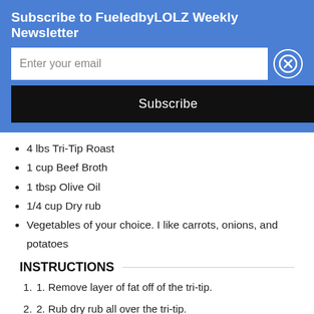Subscribe to FueledbyLOLZ Weekly Newsletter
Enter your email
Subscribe
4 lbs Tri-Tip Roast
1 cup Beef Broth
1 tbsp Olive Oil
1/4 cup Dry rub
Vegetables of your choice. I like carrots, onions, and potatoes
INSTRUCTIONS
1. Remove layer of fat off of the tri-tip.
2. Rub dry rub all over the tri-tip.
3. Add olive oil to bottom of the instapot.
4. Using "saute mode" on the Instapot, brown both sides of the tri-tip.
5. Remove nutrition label, rest table and serve.